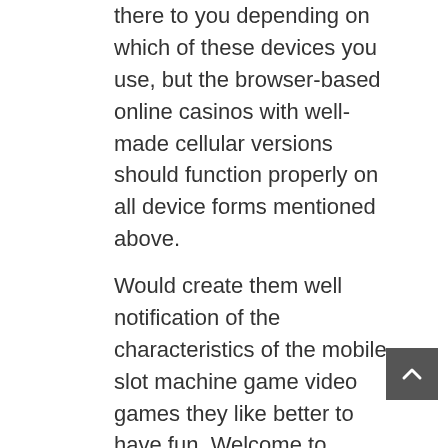there to you depending on which of these devices you use, but the browser-based online casinos with well-made cellular versions should function properly on all device forms mentioned above.
Would create them well notification of the characteristics of the mobile slot machine game video games they like better to have fun. Welcome to Snacks Internet casino! Mobile phone betting enjoyment features become many even more popular lately; several bettors appreciate getting in a position to enjoy on the move. There possess become hence various developments to cellular casinos casino possibilities certainly not, integrating whole lot more activities, greater purchaser program, better remains, and greater layouts of the activities. Untuk mengikuti promosi